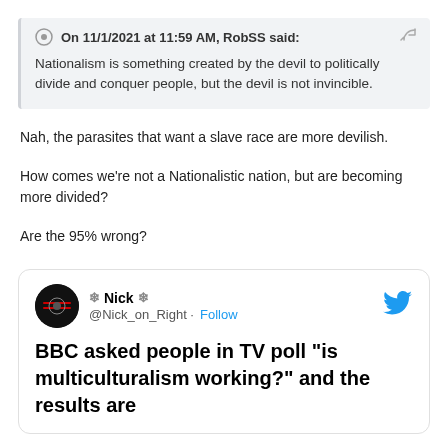On 11/1/2021 at 11:59 AM, RobSS said: Nationalism is something created by the devil to politically divide and conquer people, but the devil is not invincible.
Nah, the parasites that want a slave race are more devilish.
How comes we're not a Nationalistic nation, but are becoming more divided?
Are the 95% wrong?
[Figure (screenshot): Embedded tweet card from @Nick_on_Right (Nick) with Twitter bird logo and Follow link. Tweet text: BBC asked people in TV poll "is multiculturalism working?" and the results are]